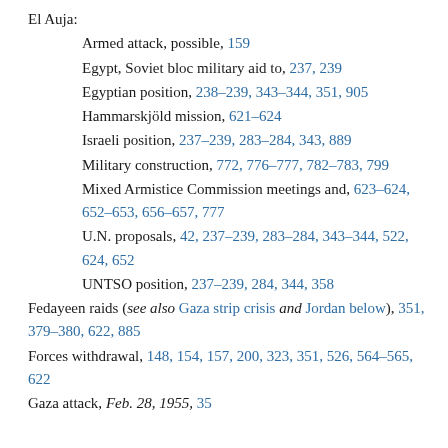El Auja:
Armed attack, possible, 159
Egypt, Soviet bloc military aid to, 237, 239
Egyptian position, 238–239, 343–344, 351, 905
Hammarskjöld mission, 621–624
Israeli position, 237–239, 283–284, 343, 889
Military construction, 772, 776–777, 782–783, 799
Mixed Armistice Commission meetings and, 623–624, 652–653, 656–657, 777
U.N. proposals, 42, 237–239, 283–284, 343–344, 522, 624, 652
UNTSO position, 237–239, 284, 344, 358
Fedayeen raids (see also Gaza strip crisis and Jordan below), 351, 379–380, 622, 885
Forces withdrawal, 148, 154, 157, 200, 323, 351, 526, 564–565, 622
Gaza attack, Feb. 28, 1955, 35